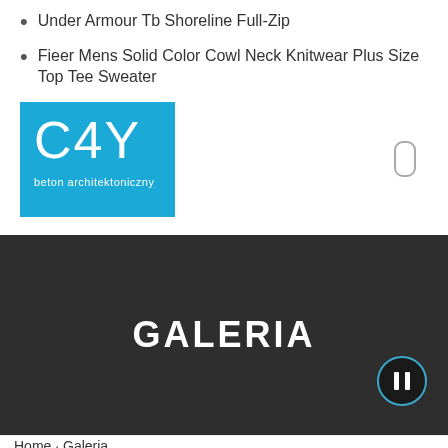Under Armour Tb Shoreline Full-Zip
Fieer Mens Solid Color Cowl Neck Knitwear Plus Size Top Tee Sweater
[Figure (logo): C4Y beton architektoniczny logo — blue square background with white text 'C4Y' large and 'beton architektoniczny' smaller below]
GALERIA
Home · Galeria